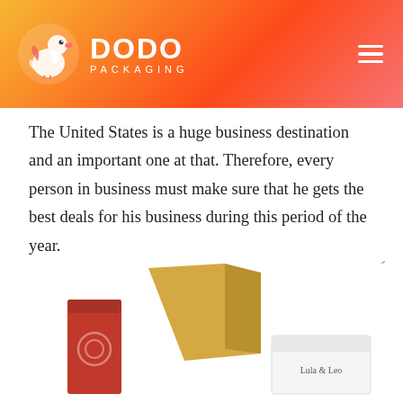DODO PACKAGING
The United States is a huge business destination and an important one at that. Therefore, every person in business must make sure that he gets the best deals for his business during this period of the year.
[Figure (logo): Dodo Packaging logo with dodo bird icon and text DODO PACKAGING]
[Figure (illustration): Black Friday sale price tag illustration in black with white and red text]
[Figure (photo): Product packaging boxes including a red box, a gold/yellow box, and a white box labeled Lula & Leo]
GET A FREE QUOTE